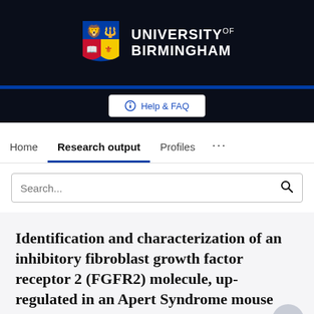[Figure (logo): University of Birmingham logo with crest and name on dark navy background]
Help & FAQ
Home  Research output  Profiles  ...
Search...
Identification and characterization of an inhibitory fibroblast growth factor receptor 2 (FGFR2) molecule, up-regulated in an Apert Syndrome mouse model